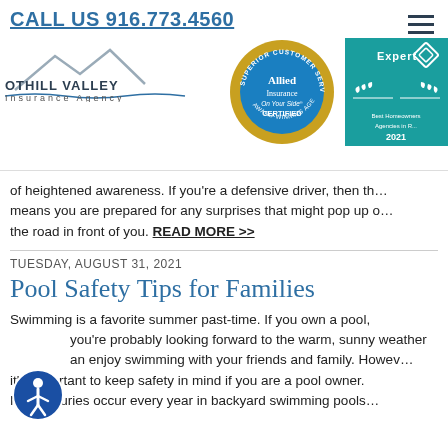CALL US 916.773.4560
[Figure (logo): Foothill Valley Insurance Agency logo with mountain silhouette]
[Figure (logo): Allied Insurance On Your Side CERTIFIED Superior Customer Service Award-Winning Agency badge]
[Figure (logo): Expertise Best Homeowners Agencies badge 2021]
of heightened awareness. If you're a defensive driver, then that means you are prepared for any surprises that might pop up on the road in front of you. READ MORE >>
Tuesday, August 31, 2021
Pool Safety Tips for Families
Swimming is a favorite summer past-time. If you own a pool, you're probably looking forward to the warm, sunny weather so you can enjoy swimming with your friends and family. However, it's important to keep safety in mind if you are a pool owner. Many injuries occur every year in backyard swimming pools.